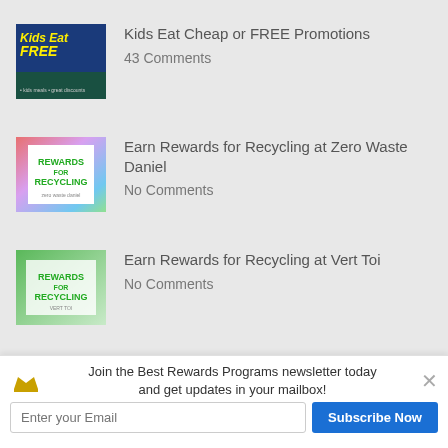Kids Eat Cheap or FREE Promotions
43 Comments
Earn Rewards for Recycling at Zero Waste Daniel
No Comments
Earn Rewards for Recycling at Vert Toi
No Comments
Share
Join the Best Rewards Programs newsletter today and get updates in your mailbox!
Enter your Email
Subscribe Now